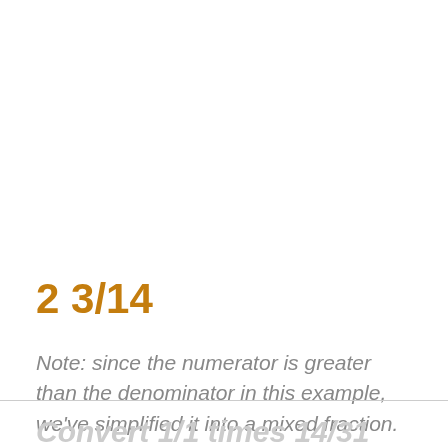2 3/14
Note: since the numerator is greater than the denominator in this example, we've simplified it into a mixed fraction.
Convert 1/1 times 14/31